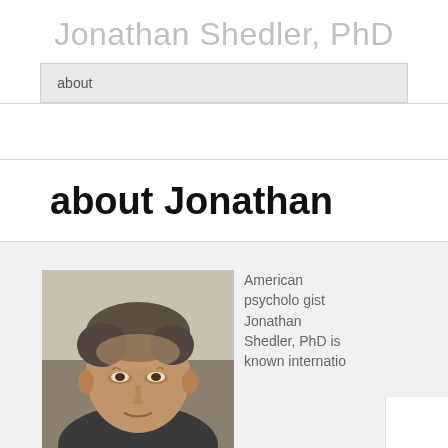Jonathan Shedler, PhD
about
about Jonathan
[Figure (photo): Portrait photo of Jonathan Shedler, a middle-aged man with dark gray hair, looking slightly to the side.]
American psychologist Jonathan Shedler, PhD is known internatio